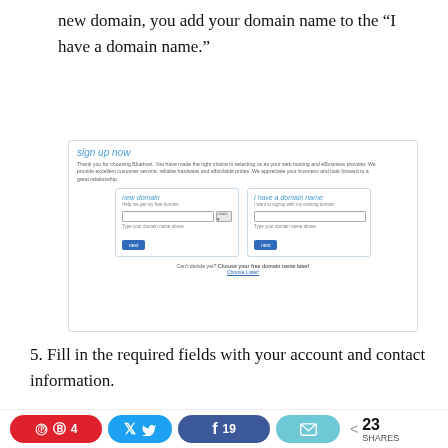new domain, you add your domain name to the “I have a domain name.”
[Figure (screenshot): Screenshot of Bluehost sign up page showing two domain options: 'new domain' (Help me get my free domain) and 'i have a domain name' (I want to signup with my existing domain), each with input fields and 'next' buttons. Footer text reads: Can't decide yet? Choose your free domain name later! Choose Later!]
5. Fill in the required fields with your account and contact information.
account information
4  19  23 SHARES